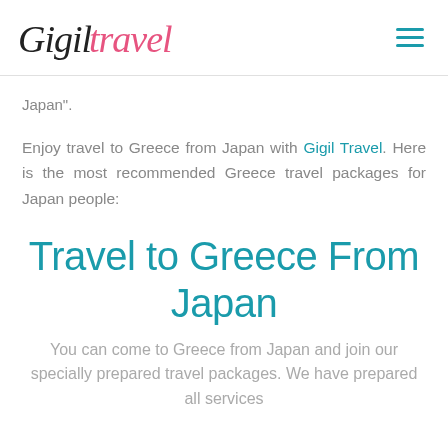Gigil Travel
Japan".
Enjoy travel to Greece from Japan with Gigil Travel. Here is the most recommended Greece travel packages for Japan people:
Travel to Greece From Japan
You can come to Greece from Japan and join our specially prepared travel packages. We have prepared all services...